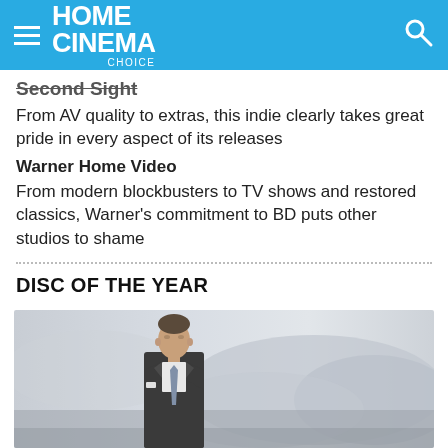HOME CINEMA Choice
Second Sight
From AV quality to extras, this indie clearly takes great pride in every aspect of its releases
Warner Home Video
From modern blockbusters to TV shows and restored classics, Warner's commitment to BD puts other studios to shame
DISC OF THE YEAR
[Figure (photo): Man in a dark suit standing against a grey misty sky background]